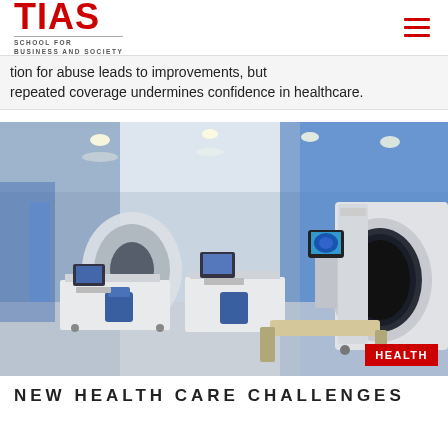TIAS SCHOOL FOR BUSINESS AND SOCIETY
tion for abuse leads to improvements, but repeated coverage undermines confidence in healthcare.
[Figure (photo): Interior of a modern medical imaging suite with MRI machine, patient table, workstations, and blue ambient lighting. A large white MRI scanner is visible on the right, with a monitor showing a brain scan. The room has recessed ceiling lights and a blue glowing wall panel.]
NEW HEALTH CARE CHALLENGES